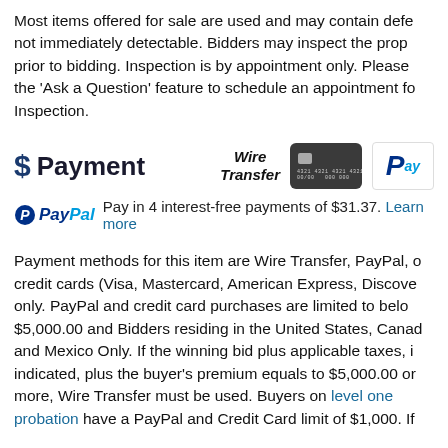Most items offered for sale are used and may contain defects not immediately detectable. Bidders may inspect the property prior to bidding. Inspection is by appointment only. Please use the 'Ask a Question' feature to schedule an appointment for Inspection.
$ Payment
[Figure (infographic): Wire Transfer text logo, credit card image (dark card with chip), and PayPal logo box]
Pay in 4 interest-free payments of $31.37. Learn more
Payment methods for this item are Wire Transfer, PayPal, or credit cards (Visa, Mastercard, American Express, Discover) only. PayPal and credit card purchases are limited to below $5,000.00 and Bidders residing in the United States, Canada and Mexico Only. If the winning bid plus applicable taxes, if indicated, plus the buyer's premium equals to $5,000.00 or more, Wire Transfer must be used. Buyers on level one probation have a PayPal and Credit Card limit of $1,000. If